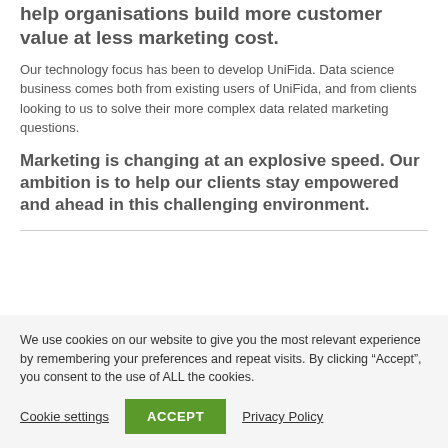help organisations build more customer value at less marketing cost.
Our technology focus has been to develop UniFida. Data science business comes both from existing users of UniFida, and from clients looking to us to solve their more complex data related marketing questions.
Marketing is changing at an explosive speed. Our ambition is to help our clients stay empowered and ahead in this challenging environment.
We use cookies on our website to give you the most relevant experience by remembering your preferences and repeat visits. By clicking “Accept”, you consent to the use of ALL the cookies.
Cookie settings | ACCEPT | Privacy Policy